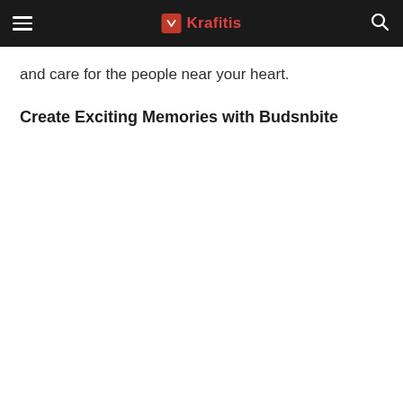Krafitis
and care for the people near your heart.
Create Exciting Memories with Budsnbite